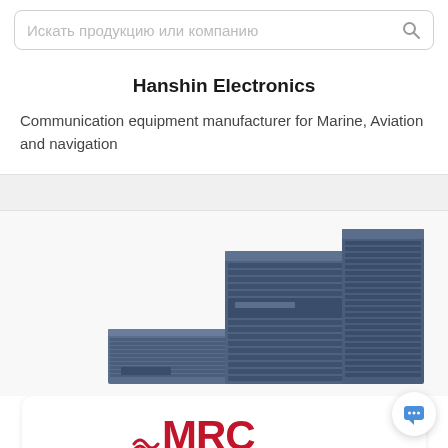Искать продукцию или компанию
Hanshin Electronics
Communication equipment manufacturer for Marine, Aviation and navigation
[Figure (photo): Photo of blue server/communication equipment rack units stacked together]
[Figure (logo): MRC logo in red with wave/lines graphic element]